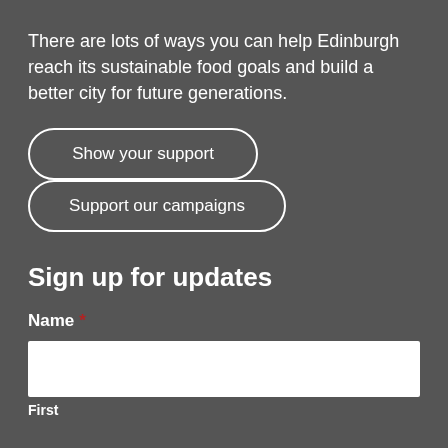There are lots of ways you can help Edinburgh reach its sustainable food goals and build a better city for future generations.
Show your support
Support our campaigns
Sign up for updates
Name *
First